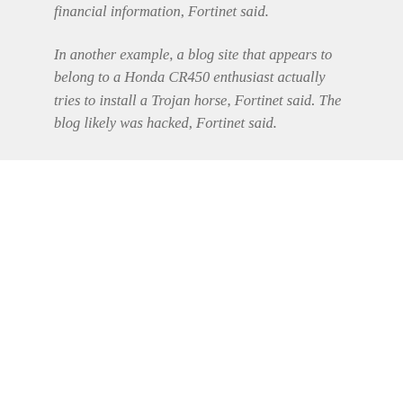financial information, Fortinet said.
In another example, a blog site that appears to belong to a Honda CR450 enthusiast actually tries to install a Trojan horse, Fortinet said. The blog likely was hacked, Fortinet said.